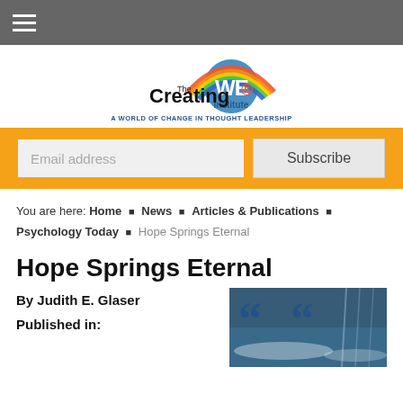Navigation bar with hamburger menu
[Figure (logo): The Creating WE Institute logo with colorful rainbow arc over globe, tagline: A WORLD OF CHANGE IN THOUGHT LEADERSHIP]
Email address [input] Subscribe [button]
You are here: Home > News > Articles & Publications > Psychology Today > Hope Springs Eternal
Hope Springs Eternal
By Judith E. Glaser
Published in:
[Figure (photo): Photo of ocean waves with large quotation marks overlay in blue tones]